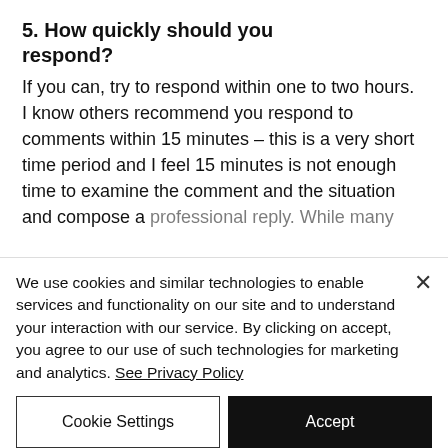5. How quickly should you respond?
If you can, try to respond within one to two hours.  I know others recommend you respond to comments within 15 minutes – this is a very short time period and I feel 15 minutes is not enough time to examine the comment and the situation and compose a professional reply. While many…
We use cookies and similar technologies to enable services and functionality on our site and to understand your interaction with our service. By clicking on accept, you agree to our use of such technologies for marketing and analytics. See Privacy Policy